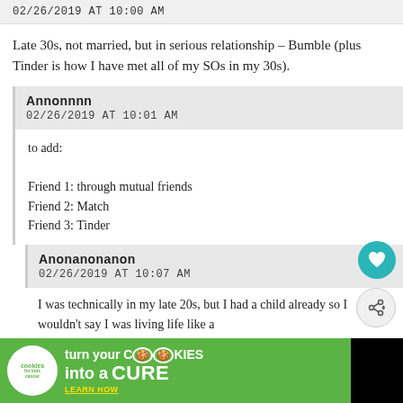02/26/2019 AT 10:00 AM
Late 30s, not married, but in serious relationship – Bumble (plus Tinder is how I have met all of my SOs in my 30s).
Annonnnn
02/26/2019 AT 10:01 AM
to add:

Friend 1: through mutual friends
Friend 2: Match
Friend 3: Tinder
Anonanonanon
02/26/2019 AT 10:07 AM
I was technically in my late 20s, but I had a child already so I wouldn't say I was living life like a
[Figure (screenshot): Advertisement banner: cookies for kids' cancer - turn your cookies into a CURE LEARN HOW]